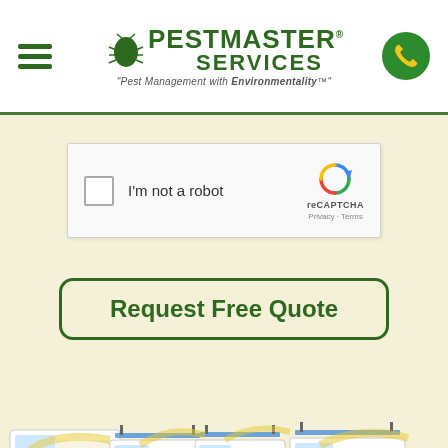[Figure (logo): Pestmaster Services logo with bug icon and tagline 'Pest Management with Environmentality']
[Figure (other): reCAPTCHA widget with checkbox 'I'm not a robot' and reCAPTCHA branding with Privacy and Terms links]
[Figure (other): Green 'Request Free Quote' button with rounded border]
[Figure (photo): Fleet of white Pestmaster Services vans/trucks with yellow and green branding, parked in a row on green background]